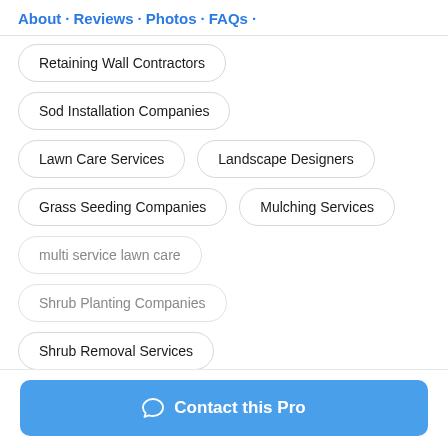About · Reviews · Photos · FAQs ·
Retaining Wall Contractors
Sod Installation Companies
Lawn Care Services
Landscape Designers
Grass Seeding Companies
Mulching Services
multi service lawn care
Shrub Planting Companies
Shrub Removal Services
Contact this Pro